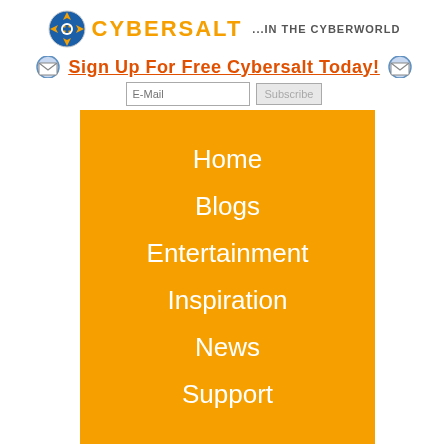[Figure (logo): Cybersalt logo with compass-style icon and text 'CYBERSALT ...IN THE CYBERWORLD']
Sign Up For Free Cybersalt Today!
E-Mail  Subscribe
Home
Blogs
Entertainment
Inspiration
News
Support